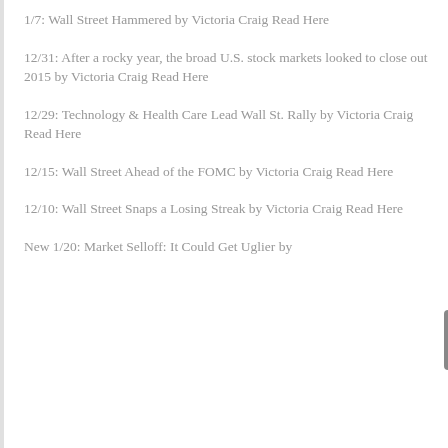1/7: Wall Street Hammered by Victoria Craig Read Here
12/31: After a rocky year, the broad U.S. stock markets looked to close out 2015 by Victoria Craig Read Here
12/29: Technology & Health Care Lead Wall St. Rally by Victoria Craig Read Here
12/15: Wall Street Ahead of the FOMC by Victoria Craig Read Here
12/10: Wall Street Snaps a Losing Streak by Victoria Craig Read Here
New 1/20: Market Selloff: It Could Get Uglier by